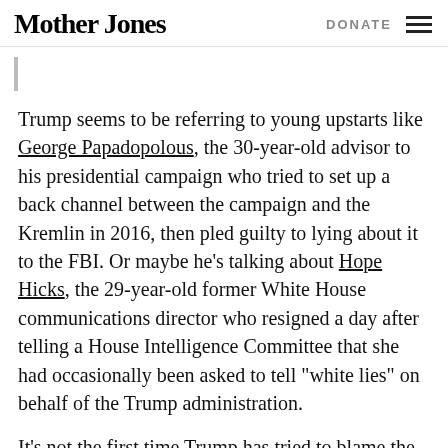Mother Jones | DONATE
Trump seems to be referring to young upstarts like George Papadopolous, the 30-year-old advisor to his presidential campaign who tried to set up a back channel between the campaign and the Kremlin in 2016, then pled guilty to lying about it to the FBI. Or maybe he’s talking about Hope Hicks, the 29-year-old former White House communications director who resigned a day after telling a House Intelligence Committee that she had occasionally been asked to tell “white lies” on behalf of the Trump administration.
It’s not the first time Trump has tried to blame the